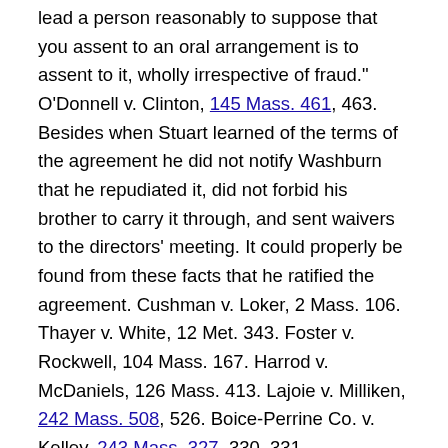lead a person reasonably to suppose that you assent to an oral arrangement is to assent to it, wholly irrespective of fraud." O'Donnell v. Clinton, 145 Mass. 461, 463. Besides when Stuart learned of the terms of the agreement he did not notify Washburn that he repudiated it, did not forbid his brother to carry it through, and sent waivers to the directors' meeting. It could properly be found from these facts that he ratified the agreement. Cushman v. Loker, 2 Mass. 106. Thayer v. White, 12 Met. 343. Foster v. Rockwell, 104 Mass. 167. Harrod v. McDaniels, 126 Mass. 413. Lajoie v. Milliken, 242 Mass. 508, 526. Boice-Perrine Co. v. Kelley, 243 Mass. 327, 330, 331.
The finding, that the agreement to pay $15,750 to Reginald Washburn and $625 to each of the Shepards